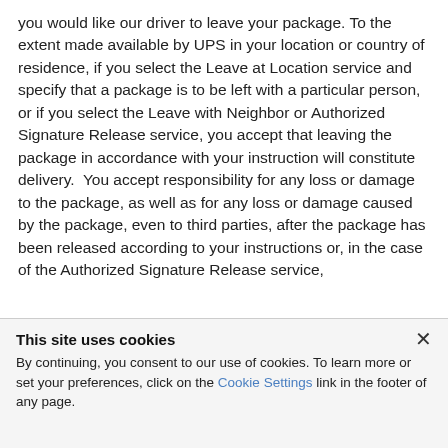you would like our driver to leave your package. To the extent made available by UPS in your location or country of residence, if you select the Leave at Location service and specify that a package is to be left with a particular person, or if you select the Leave with Neighbor or Authorized Signature Release service, you accept that leaving the package in accordance with your instruction will constitute delivery.  You accept responsibility for any loss or damage to the package, as well as for any loss or damage caused by the package, even to third parties, after the package has been released according to your instructions or, in the case of the Authorized Signature Release service,
This site uses cookies
By continuing, you consent to our use of cookies. To learn more or set your preferences, click on the Cookie Settings link in the footer of any page.